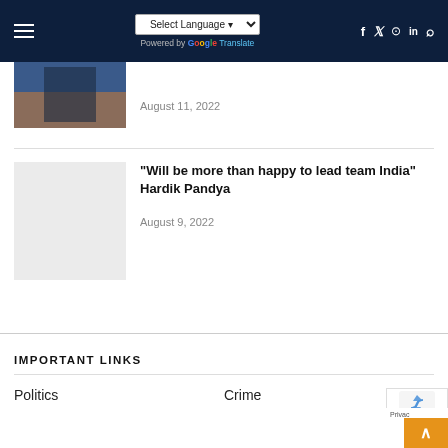Select Language | Powered by Google Translate | Social icons
August 11, 2022
"Will be more than happy to lead team India" Hardik Pandya
August 9, 2022
IMPORTANT LINKS
Politics
Crime